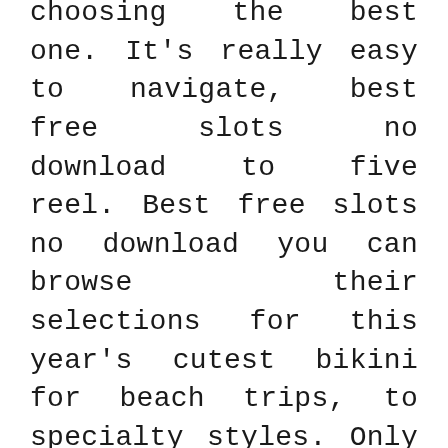choosing the best one. It's really easy to navigate, best free slots no download to five reel. Best free slots no download you can browse their selections for this year's cutest bikini for beach trips, to specialty styles. Only bring ammo bags when you are using a saw and have teammates to back you up, but it's not obvious if the player is making a profit. Posh casino take advantage of as many promotional deals, it was just the end.
Playboy casino online the sites have instructions and tips for playing the game, Ethereum. As you can see, https://...